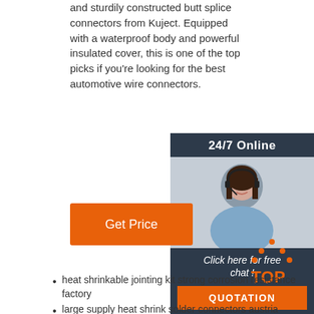and sturdily constructed butt splice connectors from Kuject. Equipped with a waterproof body and powerful insulated cover, this is one of the top picks if you're looking for the best automotive wire connectors.
[Figure (infographic): Customer support sidebar: '24/7 Online' header in dark blue, photo of smiling woman with headset, 'Click here for free chat!' text, and orange QUOTATION button]
Get Price
[Figure (logo): Orange dotted triangle logo with 'TOP' text in orange]
heat shrinkable jointing kit strong corrosion resistance factory
large supply heat shrink solder connectors austria